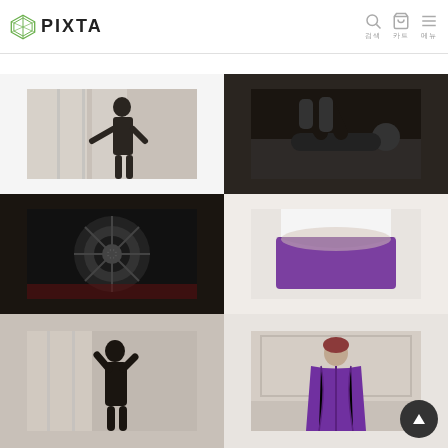[Figure (logo): PIXTA logo with stylized diamond/gem icon and text PIXTA]
[Figure (photo): Silhouette of a woman standing near a window, dark dramatic lighting]
[Figure (photo): Person lying on a bed in dark clothing, moody dark lighting]
[Figure (photo): Dark circular mechanical or industrial object viewed from below]
[Figure (photo): Close-up of woman wearing purple underwear, cropped at waist]
[Figure (photo): Silhouette of person standing near a window, dark image]
[Figure (photo): Woman in purple robe in an ornate room]